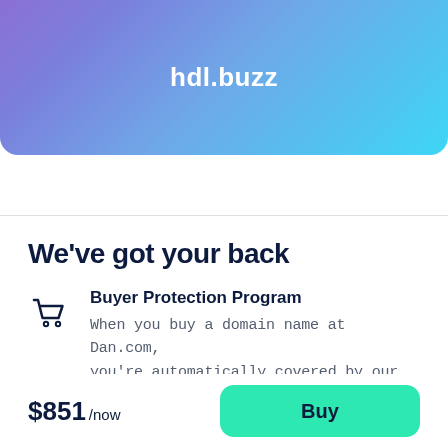[Figure (other): Gradient header banner with purple-to-cyan gradient background displaying the domain name hdl.buzz in white bold text]
We've got your back
Buyer Protection Program
When you buy a domain name at Dan.com, you're automatically covered by our Buyer
$851 /now
Buy